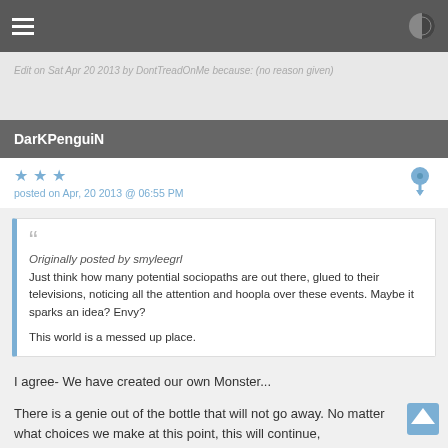Edit on Sat Apr 20 2013 by DontTreadOnMe because: (no reason given)
DarKPenguiN
posted on Apr, 20 2013 @ 06:55 PM
Originally posted by smyleegrl
Just think how many potential sociopaths are out there, glued to their televisions, noticing all the attention and hoopla over these events. Maybe it sparks an idea? Envy?

This world is a messed up place.
I agree- We have created our own Monster...
There is a genie out of the bottle that will not go away. No matter what choices we make at this point, this will continue,